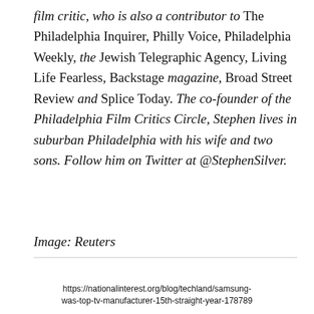film critic, who is also a contributor to The Philadelphia Inquirer, Philly Voice, Philadelphia Weekly, the Jewish Telegraphic Agency, Living Life Fearless, Backstage magazine, Broad Street Review and Splice Today. The co-founder of the Philadelphia Film Critics Circle, Stephen lives in suburban Philadelphia with his wife and two sons. Follow him on Twitter at @StephenSilver.
Image: Reuters
https://nationalinterest.org/blog/techland/samsung-was-top-tv-manufacturer-15th-straight-year-178789